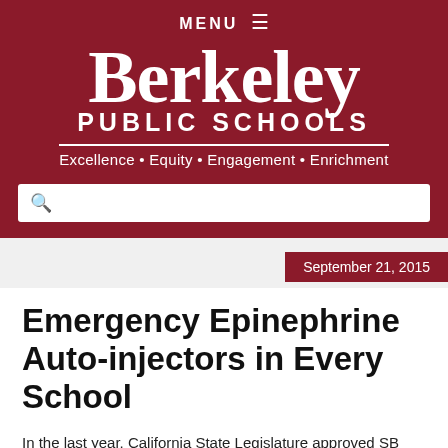MENU ☰
Berkeley PUBLIC SCHOOLS
Excellence • Equity • Engagement • Enrichment
September 21, 2015
Emergency Epinephrine Auto-injectors in Every School
In the last year, California State Legislature approved SB 1266, establishing polic[y for th]e of Emergency Epinephrine Auto-injec[tors]
Translate »